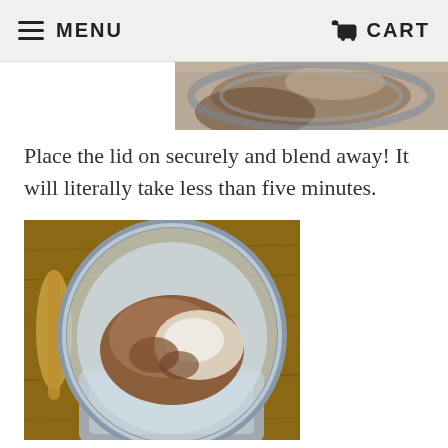MENU   CART
[Figure (photo): Partial view of a blender or food processor with mixture, cropped at top of page]
Place the lid on securely and blend away! It will literally take less than five minutes.
[Figure (photo): Top-down view of a blender/food processor bowl containing a mixture of brown and white ingredients (nut butter and flour/powder), sitting on a wooden surface with a wooden spoon visible to the left]
Now you will want to cover your baking dish or pizza pan with parchment paper. (We cut ours to match the round stone we